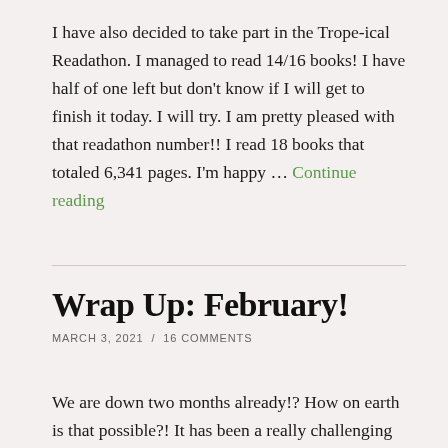I have also decided to take part in the Trope-ical Readathon. I managed to read 14/16 books! I have half of one left but don't know if I will get to finish it today. I will try. I am pretty pleased with that readathon number!! I read 18 books that totaled 6,341 pages. I'm happy … Continue reading
Wrap Up: February!
MARCH 3, 2021  /  16 COMMENTS
We are down two months already!? How on earth is that possible?! It has been a really challenging last few months with changes to school, the types of...